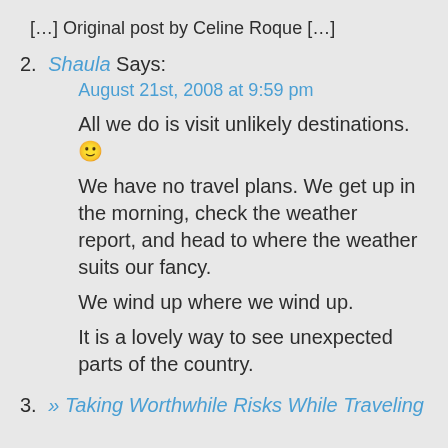[…] Original post by Celine Roque […]
2. Shaula Says:
August 21st, 2008 at 9:59 pm
All we do is visit unlikely destinations. 🙂
We have no travel plans. We get up in the morning, check the weather report, and head to where the weather suits our fancy.
We wind up where we wind up.
It is a lovely way to see unexpected parts of the country.
3. » Taking Worthwhile Risks While Traveling